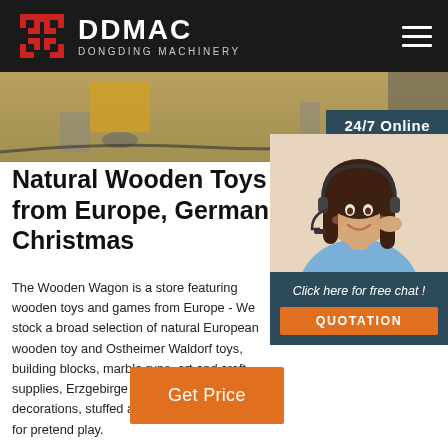DDMAC DONGDING MACHINERY
[Figure (photo): Hero image showing industrial floor/machinery]
[Figure (photo): 24/7 Online customer service representative with headset, smiling. Chat widget with 'Click here for free chat!' text and QUOTATION button.]
Natural Wooden Toys from Europe, German Christmas
The Wooden Wagon is a store featuring wooden toys and games from Europe - We stock a broad selection of natural European wooden toy and Ostheimer Waldorf toys, building blocks, marble runs, art and craft supplies, Erzgebirge folk Christmas decorations, stuffed animals, and natural toys for pretend play.
Get Price